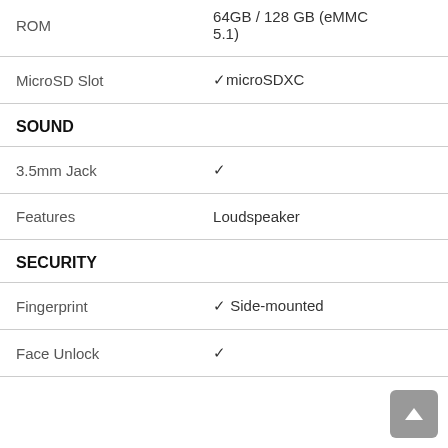| Feature | Value |
| --- | --- |
| ROM | 64GB / 128 GB (eMMC 5.1) |
| MicroSD Slot | ✓microSDXC |
| SOUND |  |
| 3.5mm Jack | ✓ |
| Features | Loudspeaker |
| SECURITY |  |
| Fingerprint | ✓ Side-mounted |
| Face Unlock | ✓ |